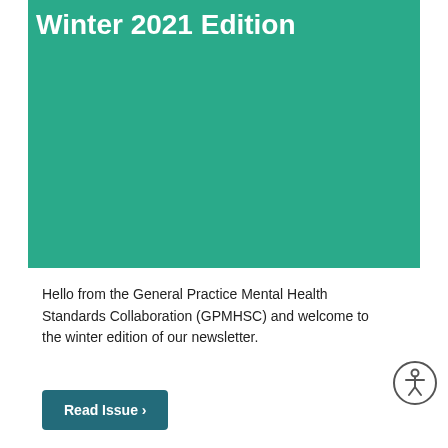[Figure (illustration): Teal/green rectangular banner background]
Winter 2021 Edition
Hello from the General Practice Mental Health Standards Collaboration (GPMHSC) and welcome to the winter edition of our newsletter.
[Figure (illustration): Circular accessibility icon showing a person figure in a circle]
Read Issue >